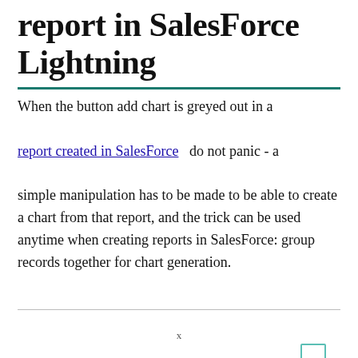report in SalesForce Lightning
When the button add chart is greyed out in a report created in SalesForce  do not panic - a simple manipulation has to be made to be able to create a chart from that report, and the trick can be used anytime when creating reports in SalesForce: group records together for chart generation.
x